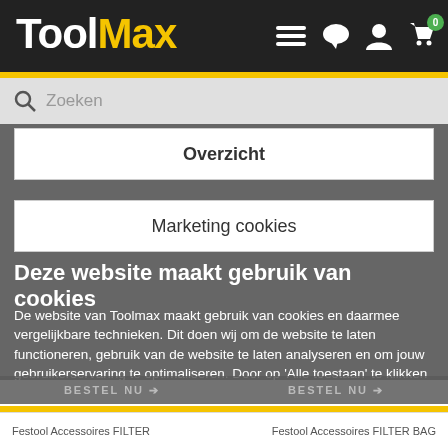ToolMax
Overzicht
Marketing cookies
Deze website maakt gebruik van cookies
De website van Toolmax maakt gebruik van cookies en daarmee vergelijkbare technieken. Dit doen wij om de website te laten functioneren, gebruik van de website te laten analyseren en om jouw gebruikerservaring te optimaliseren. Door op 'Alle toestaan' te klikken ga je akkoord met de plaatsing van de cookies. Meer informatie over cookies vind je in ons cookie overzicht.
ALLE TOESTAAN
Festool Accessoires FILTER   Festool Accessoires FILTER BAG